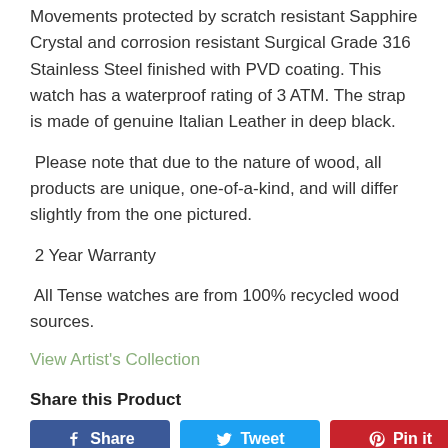Movements protected by scratch resistant Sapphire Crystal and corrosion resistant Surgical Grade 316 Stainless Steel finished with PVD coating. This watch has a waterproof rating of 3 ATM. The strap is made of genuine Italian Leather in deep black.
Please note that due to the nature of wood, all products are unique, one-of-a-kind, and will differ slightly from the one pictured.
2 Year Warranty
All Tense watches are from 100% recycled wood sources.
View Artist's Collection
Share this Product
[Figure (other): Three social sharing buttons: Share (Facebook, blue), Tweet (Twitter, light blue), Pin it (Pinterest, red)]